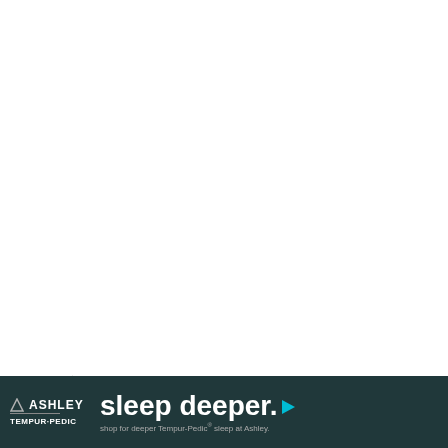ARCHIVES
[Figure (screenshot): A dropdown select input showing 'Select Month' with a down arrow chevron, bordered box style]
STACY UNCORKED CHATS WITH I'M WITH STUPID:
Couldn't load plugin.
[Figure (infographic): Ashley Furniture advertisement banner with dark teal background showing Ashley logo, Tempur-Pedic branding, 'sleep deeper.' headline in large white text with a cyan play button icon, and subtext 'shop for deeper Tempur-Pedic sleep at Ashley.']